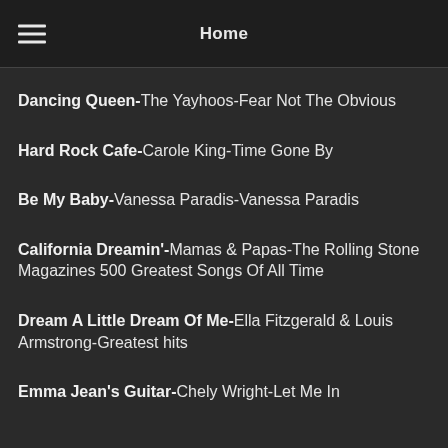Home
Dancing Queen-The Yayhoos-Fear Not The Obvious
Hard Rock Cafe-Carole King-Time Gone By
Be My Baby-Vanessa Paradis-Vanessa Paradis
California Dreamin'-Mamas & Papas-The Rolling Stone Magazines 500 Greatest Songs Of All Time
Dream A Little Dream Of Me-Ella Fitzgerald & Louis Armstrong-Greatest hits
Emma Jean's Guitar-Chely Wright-Let Me In